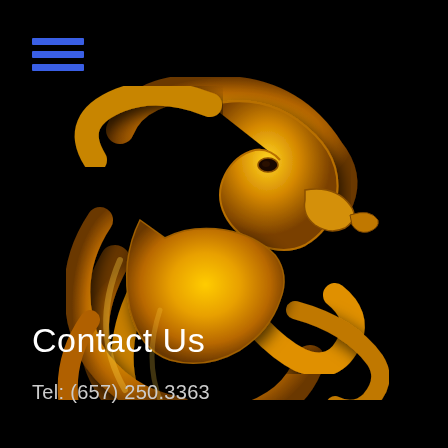[Figure (logo): 3D golden lion head logo on black background, stylized with swirling mane feathers rendered in gold/amber tones]
Contact Us
Tel: (657) 250.3363